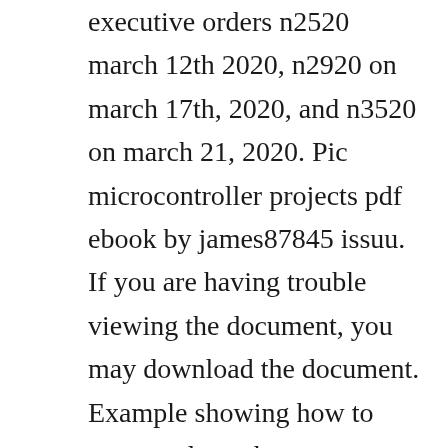executive orders n2520 march 12th 2020, n2920 on march 17th, 2020, and n3520 on march 21, 2020. Pic microcontroller projects pdf ebook by james87845 issuu. If you are having trouble viewing the document, you may download the document. Example showing how to setup and use the output compare with dedicated timers module in edge. If mmcsd card has master boot record mbr, the library will work with the. Birth of c, coding style, ansi c prelude, main and mistakes, undefined, the magic xor, dos programming, advanced graphics